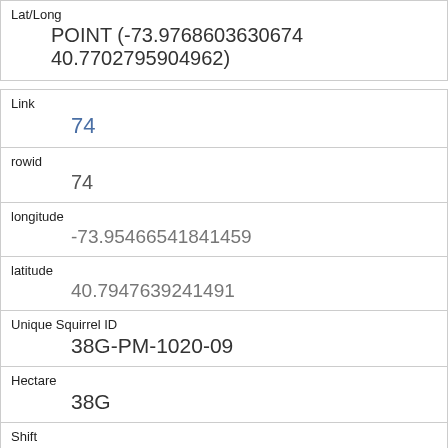| Field | Value |
| --- | --- |
| Lat/Long | POINT (-73.9768603630674 40.7702795904962) |
| Link | 74 |
| rowid | 74 |
| longitude | -73.95466541841459 |
| latitude | 40.7947639241491 |
| Unique Squirrel ID | 38G-PM-1020-09 |
| Hectare | 38G |
| Shift | PM |
| Date | 10202018 |
| Hectare Squirrel Number |  |